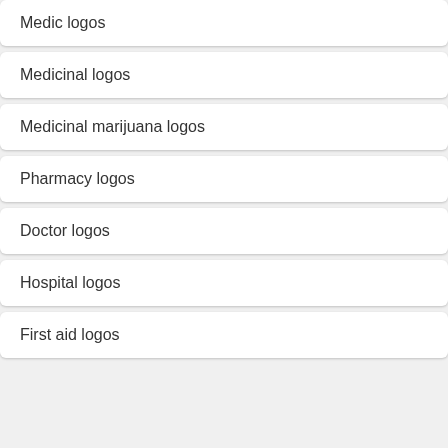Medic logos
Medicinal logos
Medicinal marijuana logos
Pharmacy logos
Doctor logos
Hospital logos
First aid logos